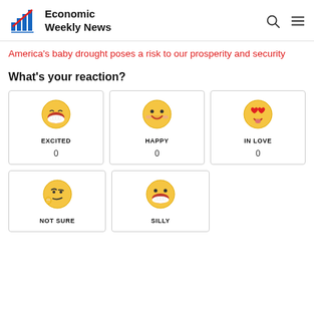Economic Weekly News
America's baby drought poses a risk to our prosperity and security
What's your reaction?
[Figure (infographic): Reaction emoji grid with EXCITED (0), HAPPY (0), IN LOVE (0), NOT SURE, SILLY]
EXCITED 0
HAPPY 0
IN LOVE 0
NOT SURE
SILLY